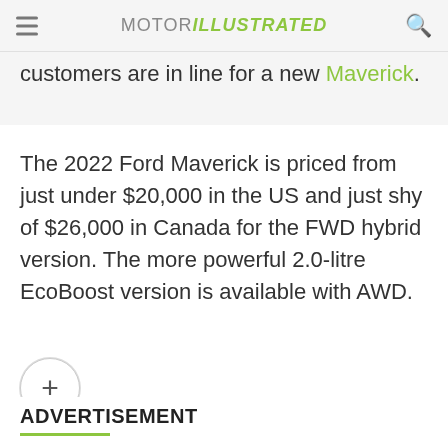MOTOR ILLUSTRATED
customers are in line for a new Maverick.
The 2022 Ford Maverick is priced from just under $20,000 in the US and just shy of $26,000 in Canada for the FWD hybrid version. The more powerful 2.0-litre EcoBoost version is available with AWD.
ADVERTISEMENT